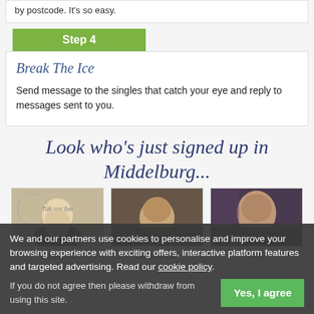by postcode. It's so easy.
Step 4
Break The Ice
Send message to the singles that catch your eye and reply to messages sent to you.
Look who's just signed up in Middelburg...
[Figure (photo): Three profile photos: Cobie 72, Johan 60, and a third person (name partially cut off)]
We and our partners use cookies to personalise and improve your browsing experience with exciting offers, interactive platform features and targeted advertising. Read our cookie policy.
If you do not agree then please withdraw from using this site.